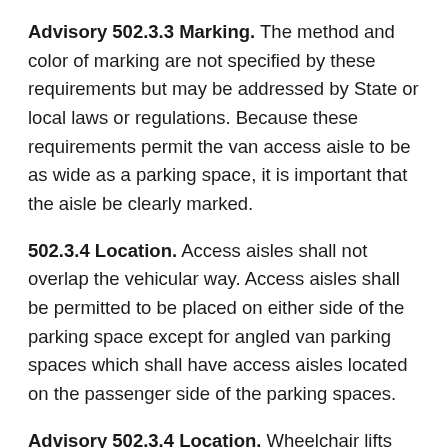Advisory 502.3.3 Marking. The method and color of marking are not specified by these requirements but may be addressed by State or local laws or regulations. Because these requirements permit the van access aisle to be as wide as a parking space, it is important that the aisle be clearly marked.
502.3.4 Location. Access aisles shall not overlap the vehicular way. Access aisles shall be permitted to be placed on either side of the parking space except for angled van parking spaces which shall have access aisles located on the passenger side of the parking spaces.
Advisory 502.3.4 Location. Wheelchair lifts typically are installed on the passenger side of vans. Many drivers, especially those who operate vans, find it more difficult to